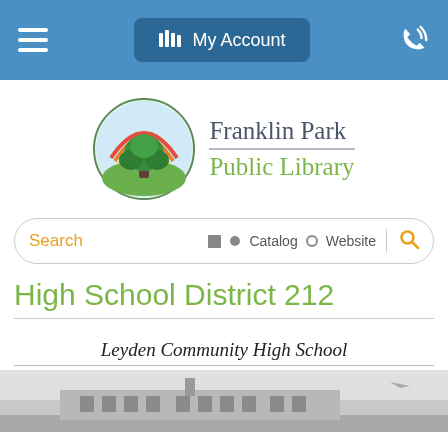My Account
[Figure (logo): Franklin Park Public Library logo — circular emblem with a tree and rainbow, next to text 'Franklin Park Public Library']
Search  ● Catalog  ○ Website
High School District 212
Leyden Community High School
[Figure (photo): Black and white photograph of Leyden Community High School building]